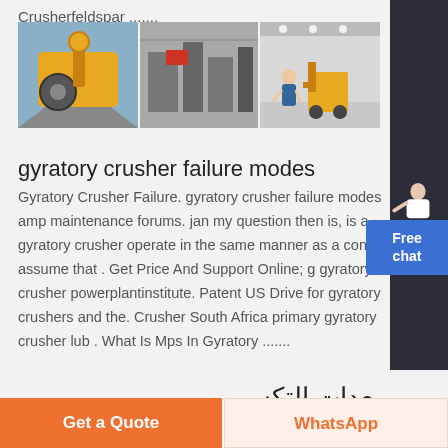Crusherfeldspar .......
[Figure (photo): Three photos of industrial crushers and mining equipment in a horizontal strip]
gyratory crusher failure modes
Gyratory Crusher Failure. gyratory crusher failure modes amp maintenance forums. jan my question then is, is a gyratory crusher operate in the same manner as a cone i assume that . Get Price And Support Online; g gyratory crusher powerplantinstitute. Patent US Drive for gyratory crushers and the. Crusher South Africa primary gyratory crusher lub . What Is Mps In Gyratory .......
معدات التكسير